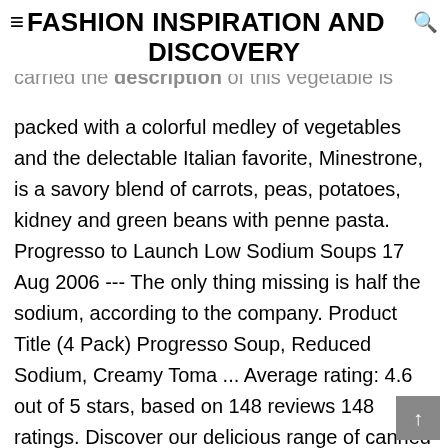≡FASHION INSPIRATION AND DISCOVERY
packed with a colorful medley of vegetables and the delectable Italian favorite, Minestrone, is a savory blend of carrots, peas, potatoes, kidney and green beans with penne pasta. Progresso to Launch Low Sodium Soups 17 Aug 2006 --- The only thing missing is half the sodium, according to the company. Product Title (4 Pack) Progresso Soup, Reduced Sodium, Creamy Toma ... Average rating: 4.6 out of 5 stars, based on 148 reviews 148 ratings. Discover our delicious range of canned soup at